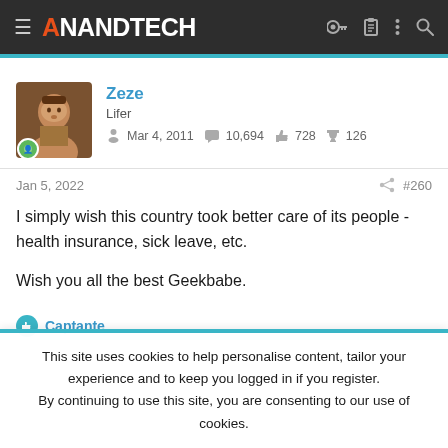AnandTech
Zeze
Lifer
Mar 4, 2011  10,694  728  126
Jan 5, 2022  #260
I simply wish this country took better care of its people - health insurance, sick leave, etc.

Wish you all the best Geekbabe.
Captante
This site uses cookies to help personalise content, tailor your experience and to keep you logged in if you register.
By continuing to use this site, you are consenting to our use of cookies.